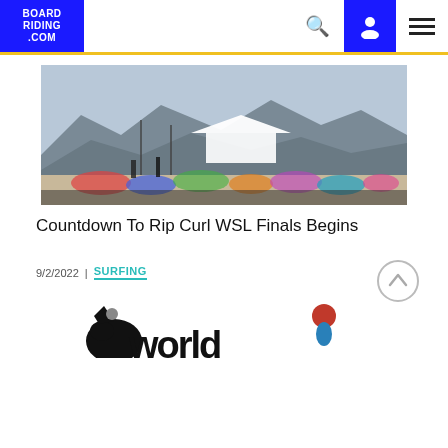BOARD RIDING .COM
[Figure (photo): Outdoor beach/desert event scene with crowd, white tent structure, mountains in background under hazy sky]
Countdown To Rip Curl WSL Finals Begins
9/2/2022  |  SURFING
[Figure (photo): Partial view of a decorative logo/graphic with stylized text reading 'world' with illustrated figures]